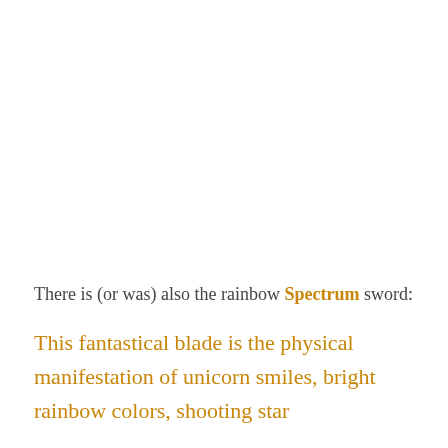There is (or was) also the rainbow Spectrum sword:
This fantastical blade is the physical manifestation of unicorn smiles, bright rainbow colors, shooting star